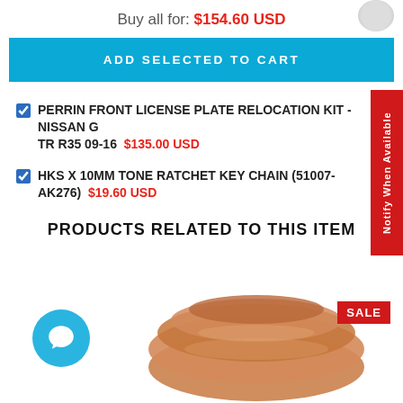Buy all for: $154.60 USD
ADD SELECTED TO CART
PERRIN FRONT LICENSE PLATE RELOCATION KIT - NISSAN GTR R35 09-16  $135.00 USD
HKS X 10MM TONE RATCHET KEY CHAIN (51007-AK276)  $19.60 USD
PRODUCTS RELATED TO THIS ITEM
[Figure (photo): Copper coil/tubing product photo with a SALE badge overlay and a teal chat bubble icon in the lower left.]